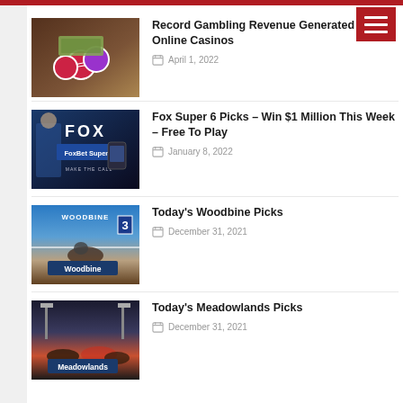Navigation menu
Record Gambling Revenue Generated by US Online Casinos
April 1, 2022
[Figure (photo): Casino chips and money on a table]
Fox Super 6 Picks – Win $1 Million This Week – Free To Play
January 8, 2022
[Figure (photo): FoxBet Super 6 promotional image with FOX logo]
Today's Woodbine Picks
December 31, 2021
[Figure (photo): Woodbine horse racing track with overlay label]
Today's Meadowlands Picks
December 31, 2021
[Figure (photo): Meadowlands horse racing track with overlay label]